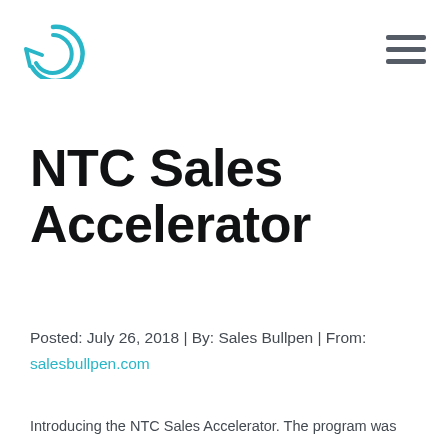Sales Bullpen logo and navigation menu
NTC Sales Accelerator
Posted: July 26, 2018 | By: Sales Bullpen | From: salesbullpen.com
Introducing the NTC Sales Accelerator. The program was